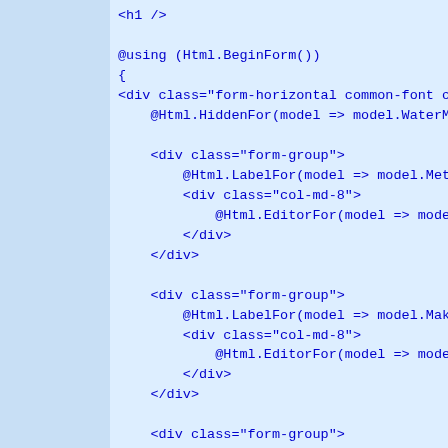<h1 />

@using (Html.BeginForm())
{
<div class="form-horizontal common-font containmen
    @Html.HiddenFor(model => model.WaterMeterID)

    <div class="form-group">
        @Html.LabelFor(model => model.MeterNumber,
        <div class="col-md-8">
            @Html.EditorFor(model => model.MeterNu
        </div>
    </div>

    <div class="form-group">
        @Html.LabelFor(model => model.Make, htmlAt
        <div class="col-md-8">
            @Html.EditorFor(model => model.Make, n
        </div>
    </div>

    <div class="form-group">
        @Html.LabelFor(model => model.Model, htmlA
        <div class="col-md-8">
            @Html.EditorFor(model => model.Mode